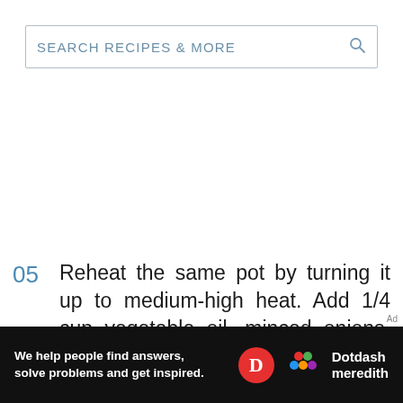SEARCH RECIPES & MORE
05  Reheat the same pot by turning it up to medium-high heat. Add 1/4 cup vegetable oil, minced onions, garlic, habanero or jalapeño, and ginger. Slowly sauté for 8 to
Ad
[Figure (other): Advertisement banner for Dotdash Meredith. Black background with white text reading 'We help people find answers, solve problems and get inspired.' with a red circular D logo and colorful Dotdash Meredith logo.]